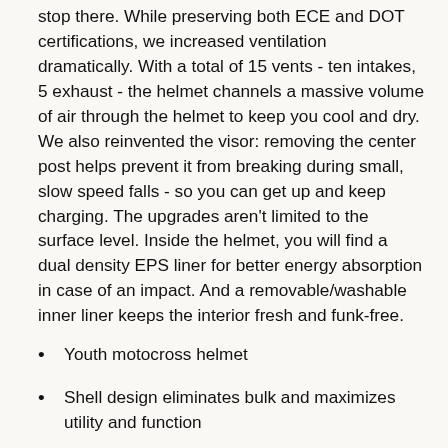stop there. While preserving both ECE and DOT certifications, we increased ventilation dramatically. With a total of 15 vents - ten intakes, 5 exhaust - the helmet channels a massive volume of air through the helmet to keep you cool and dry. We also reinvented the visor: removing the center post helps prevent it from breaking during small, slow speed falls - so you can get up and keep charging. The upgrades aren't limited to the surface level. Inside the helmet, you will find a dual density EPS liner for better energy absorption in case of an impact. And a removable/washable inner liner keeps the interior fresh and funk-free.
Youth motocross helmet
Shell design eliminates bulk and maximizes utility and function
Injection molded ABS/PC shell reduces weight while maintaining durability